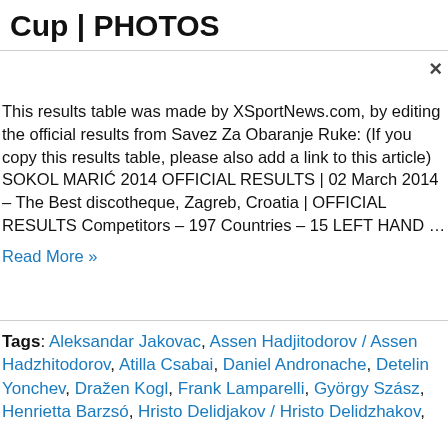Cup | PHOTOS
This results table was made by XSportNews.com, by editing the official results from Savez Za Obaranje Ruke: (If you copy this results table, please also add a link to this article) SOKOL MARIĆ 2014 OFFICIAL RESULTS | 02 March 2014 – The Best discotheque, Zagreb, Croatia | OFFICIAL RESULTS Competitors – 197 Countries – 15 LEFT HAND ...
Read More »
Tags: Aleksandar Jakovac, Assen Hadjitodorov / Assen Hadzhitodorov, Atilla Csabai, Daniel Andronache, Detelin Yonchev, Dražen Kogl, Frank Lamparelli, György Szász, Henrietta Barzsó, Hristo Delidjakov / Hristo Delidzhakov,